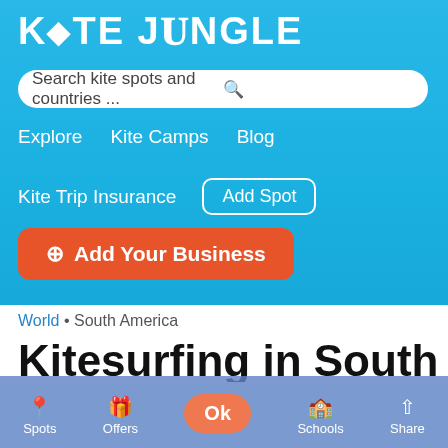KITE JUNGLE
Search kite spots and countries ...
Explore
Kite Camps
Blog
Kite Trip Insurance
Add Spot
Add Your Business
World • South America
Kitesurfing in South America
We use cookies to ensure that we give you the best experience on our website. If you continue to use this site we will assume that you are happy with it.
Ok
Share
Spots  Offers  Schools  Share